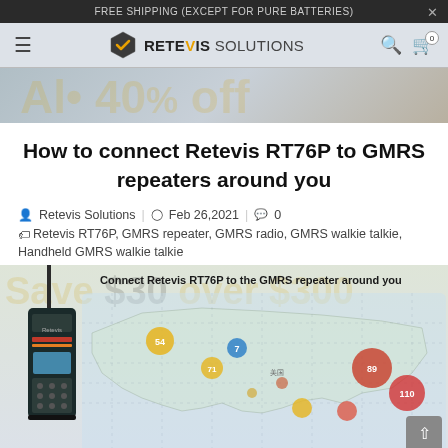FREE SHIPPING (EXCEPT FOR PURE BATTERIES)
[Figure (screenshot): Retevis Solutions e-commerce website navigation bar with hamburger menu, Retevis logo, search icon, and cart icon showing 0 items]
How to connect Retevis RT76P to GMRS repeaters around you
Retevis Solutions  Feb 26,2021  0
Retevis RT76P,  GMRS repeater,  GMRS radio,  GMRS walkie talkie,  Handheld GMRS walkie talkie
[Figure (photo): Retevis RT76P handheld GMRS walkie talkie radio product image shown against a faded promotional banner background. Below shows a map of the USA with colored circle markers indicating GMRS repeater locations. Caption reads: Connect Retevis RT76P to the GMRS repeater around you]